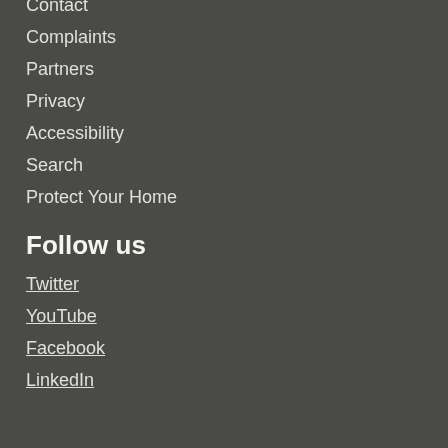Contact
Complaints
Partners
Privacy
Accessibility
Search
Protect Your Home
Follow us
Twitter
YouTube
Facebook
LinkedIn